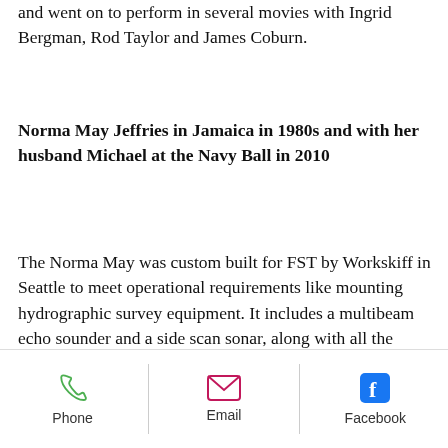and went on to perform in several movies with Ingrid Bergman, Rod Taylor and James Coburn.
Norma May Jeffries in Jamaica in 1980s and with her husband Michael at the Navy Ball in 2010
The Norma May was custom built for FST by Workskiff in Seattle to meet operational requirements like mounting hydrographic survey equipment. It includes a multibeam echo sounder and a side scan sonar, along with all the computer systems required to collect hydrographic data that meet the International
Phone | Email | Facebook